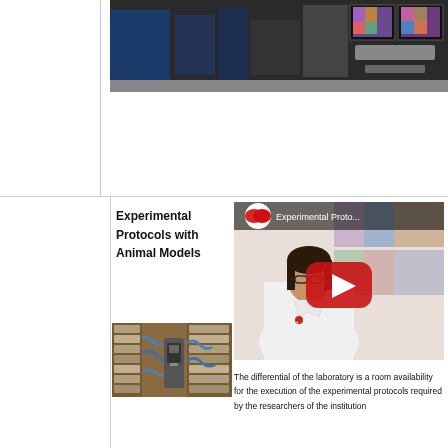[Figure (photo): Laboratory equipment photo with monitors and instruments, partially visible at top]
Experimental Protocols with Animal Models
[Figure (photo): Animal housing facility with cages and equipment]
[Figure (screenshot): YouTube video thumbnail showing 'Experimental Proto...' with a researcher in a white lab coat and red YouTube play button]
The differential of the laboratory is a room availability for the execution of the experimental protocols required by the researchers of the institution